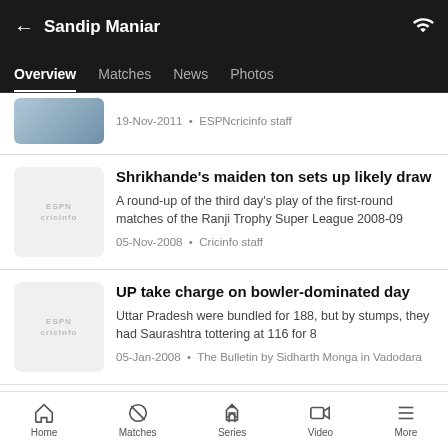Sandip Maniar
Overview  Matches  News  Photos
19-Nov-2011 · ESPNcricinfo staff
Shrikhande's maiden ton sets up likely draw
A round-up of the third day's play of the first-round matches of the Ranji Trophy Super League 2008-09
05-Nov-2008 · Cricinfo staff
UP take charge on bowler-dominated day
Uttar Pradesh were bundled for 188, but by stumps, they had Saurashtra tottering at 116 for 8
05-Jan-2008 · The Bulletin by Sidharth Monga in Vadodara
Home  Matches  Series  Video  More